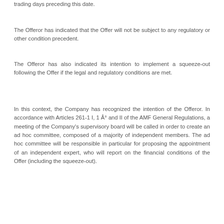trading days preceding this date.
The Offeror has indicated that the Offer will not be subject to any regulatory or other condition precedent.
The Offeror has also indicated its intention to implement a squeeze-out following the Offer if the legal and regulatory conditions are met.
In this context, the Company has recognized the intention of the Offeror. In accordance with Articles 261-1 I, 1 Â° and II of the AMF General Regulations, a meeting of the Company's supervisory board will be called in order to create an ad hoc committee, composed of a majority of independent members. The ad hoc committee will be responsible in particular for proposing the appointment of an independent expert, who will report on the financial conditions of the Offer (including the squeeze-out).